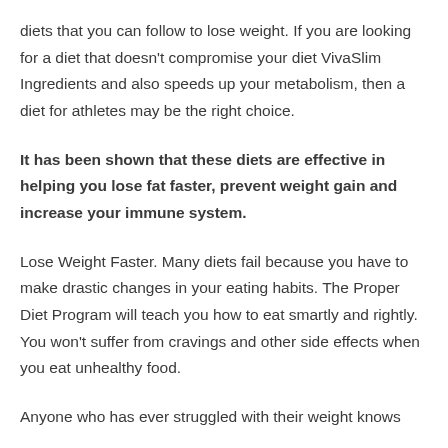diets that you can follow to lose weight. If you are looking for a diet that doesn’t compromise your diet VivaSlim Ingredients and also speeds up your metabolism, then a diet for athletes may be the right choice.
It has been shown that these diets are effective in helping you lose fat faster, prevent weight gain and increase your immune system.
Lose Weight Faster. Many diets fail because you have to make drastic changes in your eating habits. The Proper Diet Program will teach you how to eat smartly and rightly. You won’t suffer from cravings and other side effects when you eat unhealthy food.
Anyone who has ever struggled with their weight knows